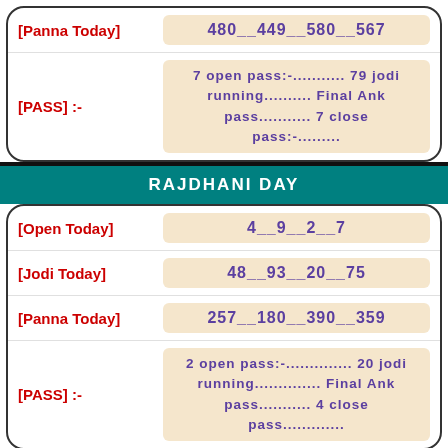[Panna Today]
480__449__580__567
[PASS] :-
7 open pass:-........... 79 jodi running......... Final Ank pass........... 7 close pass:-..........
RAJDHANI DAY
[Open Today]
4__9__2__7
[Jodi Today]
48__93__20__75
[Panna Today]
257__180__390__359
[PASS] :-
2 open pass:-.............. 20 jodi running.............. Final Ank pass........... 4 close pass............